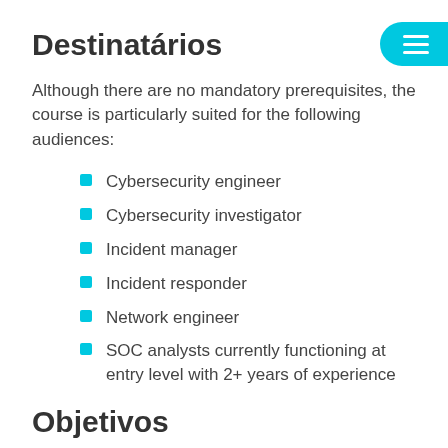Destinatários
Although there are no mandatory prerequisites, the course is particularly suited for the following audiences:
Cybersecurity engineer
Cybersecurity investigator
Incident manager
Incident responder
Network engineer
SOC analysts currently functioning at entry level with 2+ years of experience
Objetivos